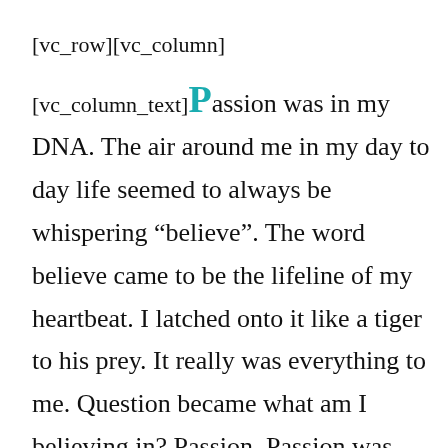[vc_row][vc_column]
[vc_column_text]Passion was in my DNA. The air around me in my day to day life seemed to always be whispering “believe”. The word believe came to be the lifeline of my heartbeat. I latched onto it like a tiger to his prey. It really was everything to me. Question became what am I believing in? Passion. Passion was my answer. It changed my perspective on just about everything else I “thought” I was to be doing/becoming...